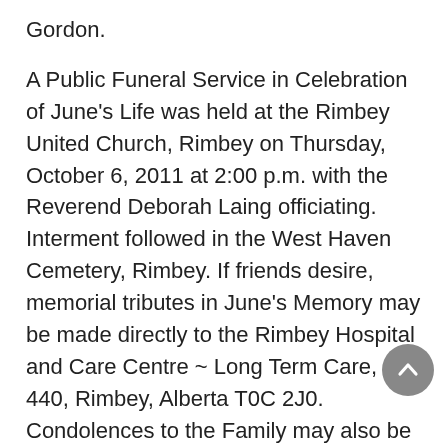Gordon.
A Public Funeral Service in Celebration of June's Life was held at the Rimbey United Church, Rimbey on Thursday, October 6, 2011 at 2:00 p.m. with the Reverend Deborah Laing officiating. Interment followed in the West Haven Cemetery, Rimbey. If friends desire, memorial tributes in June's Memory may be made directly to the Rimbey Hospital and Care Centre ~ Long Term Care, Box 440, Rimbey, Alberta T0C 2J0. Condolences to the Family may also be expressed by email to: special_reflections@telusplanet.net
Service and Burial Arrangements for the Late June Rose Tempany
entrusted to the care of